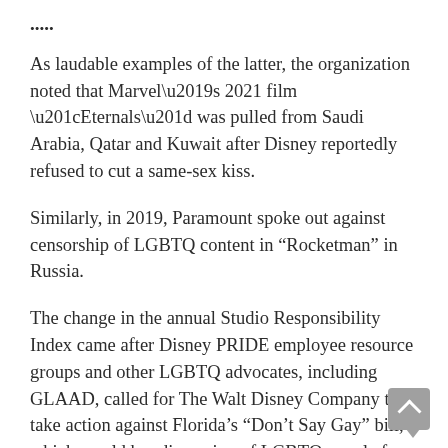....
As laudable examples of the latter, the organization noted that Marvel’s 2021 film “Eternals” was pulled from Saudi Arabia, Qatar and Kuwait after Disney reportedly refused to cut a same-sex kiss.
Similarly, in 2019, Paramount spoke out against censorship of LGBTQ content in “Rocketman” in Russia.
The change in the annual Studio Responsibility Index came after Disney PRIDE employee resource groups and other LGBTQ advocates, including GLAAD, called for The Walt Disney Company to take action against Florida’s “Don’t Say Gay” bill, which would bar discussion of LGBTQ people from Florida classrooms.